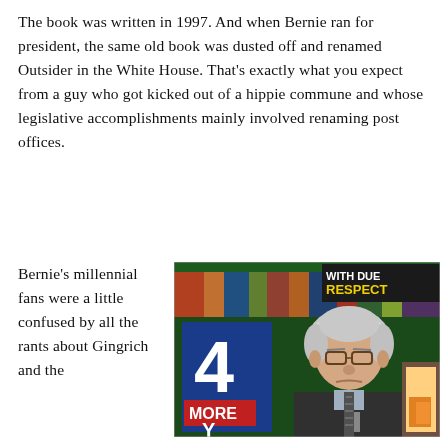The book was written in 1997. And when Bernie ran for president, the same old book was dusted off and renamed Outsider in the White House. That's exactly what you expect from a guy who got kicked out of a hippie commune and whose legislative accomplishments mainly involved renaming post offices.
Bernie's millennial fans were a little confused by all the rants about Gingrich and the
[Figure (photo): Photo of Bernie Sanders in a TV studio setting with signs reading '4 MORE Y[EARS]' and 'WITH DUE RESPECT' visible in the background.]